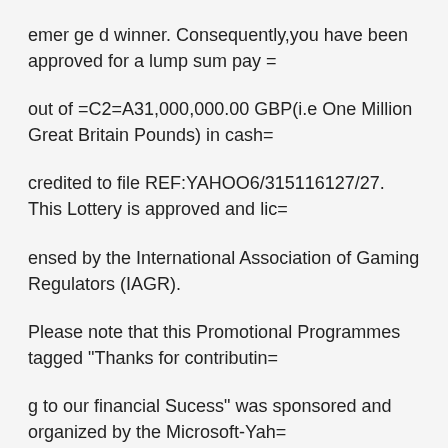emer ge d winner. Consequently,you have been approved for a lump sum pay =
out of =C2=A31,000,000.00 GBP(i.e One Million Great Britain Pounds) in cash=
credited to file REF:YAHOO6/315116127/27. This Lottery is approved and lic=
ensed by the International Association of Gaming Regulators (IAGR).
Please note that this Promotional Programmes tagged "Thanks for contributin=
g to our financial Sucess" was sponsored and organized by the Microsoft-Yah=